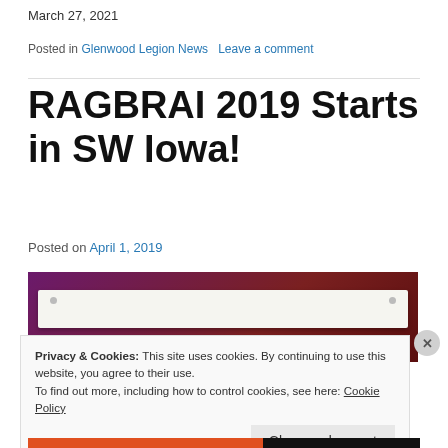March 27, 2021
Posted in Glenwood Legion News   Leave a comment
RAGBRAI 2019 Starts in SW Iowa!
Posted on April 1, 2019
[Figure (photo): Photo of a sign or banner with purple/dark background, showing a white rectangular sign with screws on each side.]
Privacy & Cookies: This site uses cookies. By continuing to use this website, you agree to their use.
To find out more, including how to control cookies, see here: Cookie Policy
Close and accept